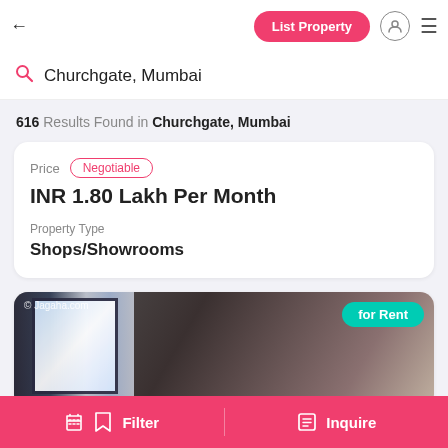← List Property
Churchgate, Mumbai
616 Results Found in Churchgate, Mumbai
Price Negotiable
INR 1.80 Lakh Per Month
Property Type
Shops/Showrooms
[Figure (photo): Interior room photo with windows showing daylight, watermark 'Jagaha.com', 'for Rent' badge in teal]
Filter   Inquire